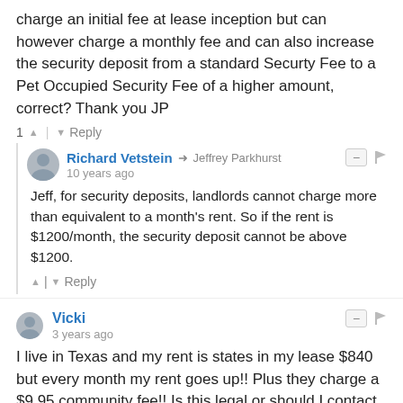charge an initial fee at lease inception but can however charge a monthly fee and can also increase the security deposit from a standard Securty Fee to a Pet Occupied Security Fee of a higher amount, correct?  Thank you JP
1 ↑ | ↓ Reply
Richard Vetstein → Jeffrey Parkhurst
10 years ago
Jeff, for security deposits, landlords cannot charge more than equivalent to a month's rent. So if the rent is $1200/month, the security deposit cannot be above $1200.
↑ | ↓ Reply
Vicki
3 years ago
I live in Texas and my rent is states in my lease $840 but every month my rent goes up!! Plus they charge a $9.95 community fee!! Is this legal or should I contact a attorney
↑ | ↓ Reply
veron adams